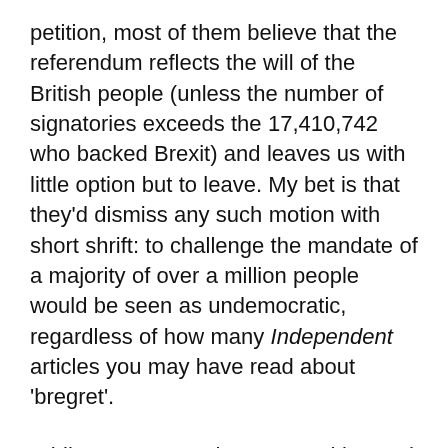petition, most of them believe that the referendum reflects the will of the British people (unless the number of signatories exceeds the 17,410,742 who backed Brexit) and leaves us with little option but to leave. My bet is that they'd dismiss any such motion with short shrift: to challenge the mandate of a majority of over a million people would be seen as undemocratic, regardless of how many Independent articles you may have read about 'bregret'.
Whilst we seem to have moved beyond the red mist which seemed to descend the day after the result, it's important that we continue to address scattergun criticisms of all 'Leave' voters. By all means, have a go at Farage, Gove, Johnson, Hannan et al: you have every right to, given that promises have been made and reneged upon already. But it's important that criticism